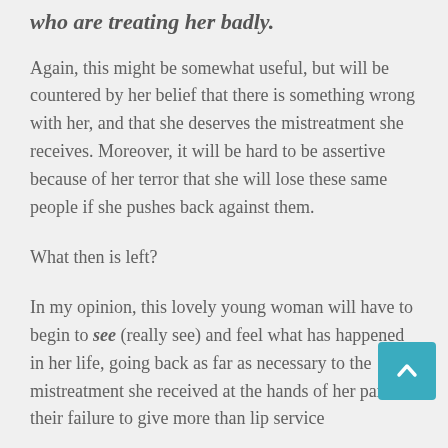who are treating her badly.
Again, this might be somewhat useful, but will be countered by her belief that there is something wrong with her, and that she deserves the mistreatment she receives. Moreover, it will be hard to be assertive because of her terror that she will lose these same people if she pushes back against them.
What then is left?
In my opinion, this lovely young woman will have to begin to see (really see) and feel what has happened in her life, going back as far as necessary to the mistreatment she received at the hands of her parents; their failure to give more than lip service